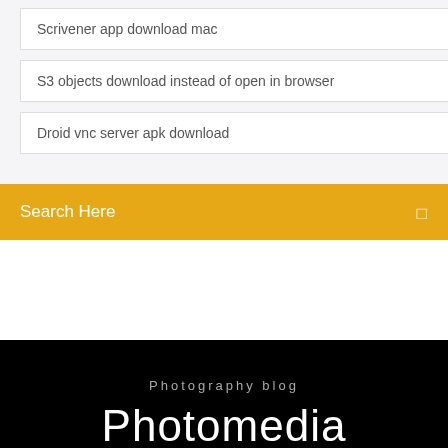Scrivener app download mac
S3 objects download instead of open in browser
Droid vnc server apk download
Search Here
Photography blog
Photomedia